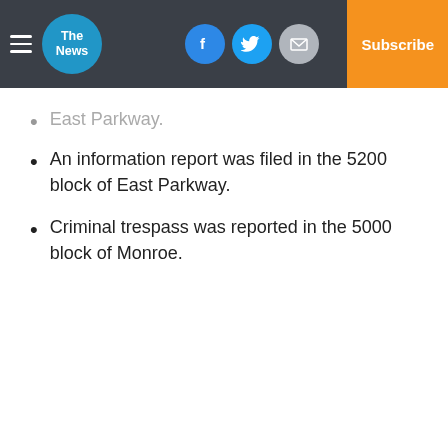The News — Log In | Subscribe
East Parkway. (partial/truncated)
An information report was filed in the 5200 block of East Parkway.
Criminal trespass was reported in the 5000 block of Monroe.